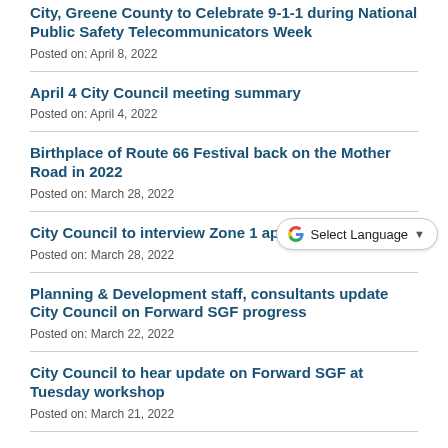City, Greene County to Celebrate 9-1-1 during National Public Safety Telecommunicators Week
Posted on: April 8, 2022
April 4 City Council meeting summary
Posted on: April 4, 2022
Birthplace of Route 66 Festival back on the Mother Road in 2022
Posted on: March 28, 2022
City Council to interview Zone 1 applicants April 12
Posted on: March 28, 2022
Planning & Development staff, consultants update City Council on Forward SGF progress
Posted on: March 22, 2022
City Council to hear update on Forward SGF at Tuesday workshop
Posted on: March 21, 2022